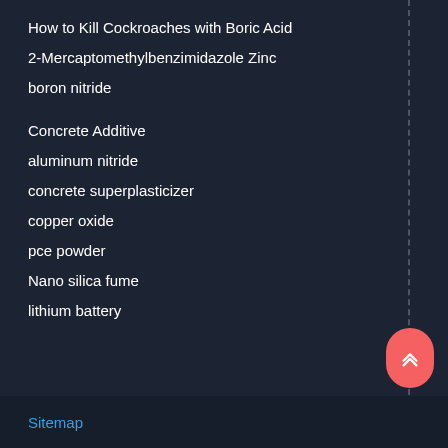How to Kill Cockroaches with Boric Acid
2-Mercaptomethylbenzimidazole Zinc
boron nitride
Concrete Additive
aluminum nitride
concrete superplasticizer
copper oxide
pce powder
Nano silica fume
lithium battery
Sitemap